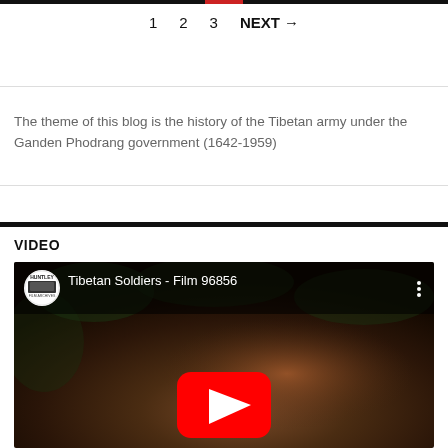1   2   3   NEXT →
The theme of this blog is the history of the Tibetan army under the Ganden Phodrang government (1642-1959)
VIDEO
[Figure (screenshot): YouTube video thumbnail for 'Tibetan Soldiers - Film 96856' with a channel logo (Huntley Film Archives) and a red YouTube play button overlaid on a dark photo of a Tibetan soldier.]